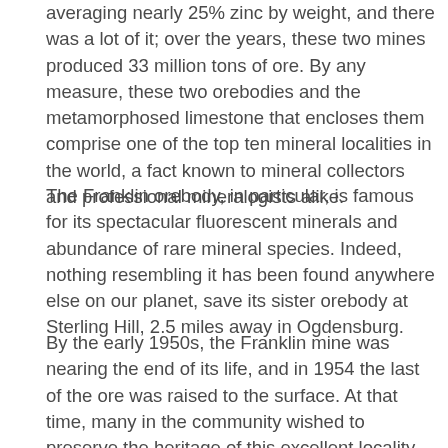averaging nearly 25% zinc by weight, and there was a lot of it; over the years, these two mines produced 33 million tons of ore. By any measure, these two orebodies and the metamorphosed limestone that encloses them comprise one of the top ten mineral localities in the world, a fact known to mineral collectors and professional mineralogists alike.
The Franklin orebody, in particular, is famous for its spectacular fluorescent minerals and abundance of rare mineral species. Indeed, nothing resembling it has been found anywhere else on our planet, save its sister orebody at Sterling Hill, 2.5 miles away in Ogdensburg.
By the early 1950s, the Franklin mine was nearing the end of its life, and in 1954 the last of the ore was raised to the surface. At that time, many in the community wished to preserve the heritage of this excellent locality. Miners sold specimens to collectors out of their